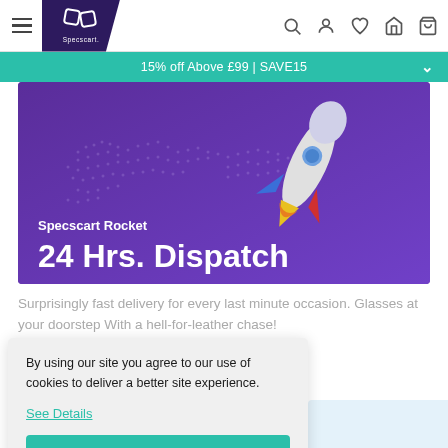Specscart navigation bar with hamburger menu, logo, search, account, wishlist, store, and cart icons
15% off Above £99 | SAVE15
[Figure (illustration): Purple hero banner showing a world map dotted outline in the background with a colorful rocket (blue, red, yellow fins), text reading 'Specscart Rocket 24 Hrs. Dispatch']
Surprisingly fast delivery for every last minute occasion. Glasses at your doorstep With a hell-for-leather chase!
By using our site you agree to our use of cookies to deliver a better site experience.
See Details
Got it